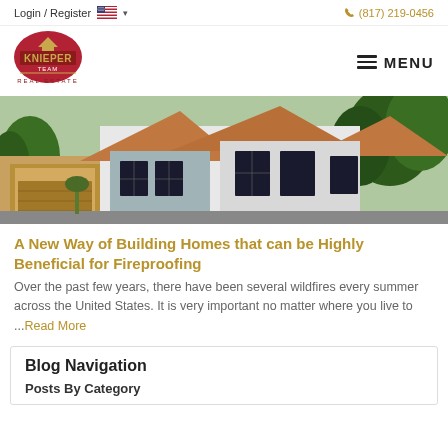Login / Register  (817) 219-0456
[Figure (logo): Knieper Team Real Estate logo with red circular emblem and gold text]
[Figure (photo): Exterior photo of modern homes with gray siding, dark trim windows, and surrounding trees]
A New Way of Building Homes that can be Highly Beneficial for Fireproofing
Over the past few years, there have been several wildfires every summer across the United States. It is very important no matter where you live to ...Read More
Blog Navigation
Posts By Category